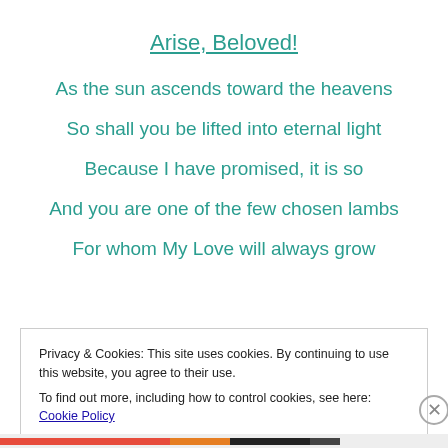Arise, Beloved!
As the sun ascends toward the heavens
So shall you be lifted into eternal light
Because I have promised, it is so
And you are one of the few chosen lambs
For whom My Love will always grow
Privacy & Cookies: This site uses cookies. By continuing to use this website, you agree to their use.
To find out more, including how to control cookies, see here: Cookie Policy